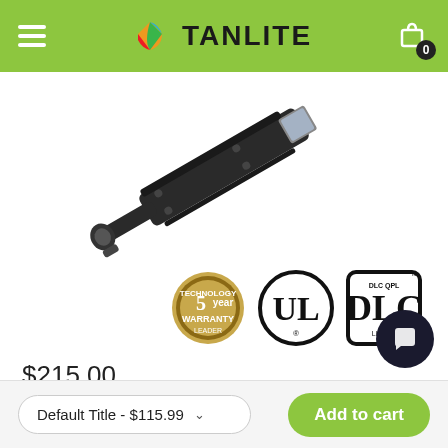TANLITE - navigation header with hamburger menu, logo, and cart icon showing 0 items
[Figure (photo): LED street/area light fixture shown at an angle, dark metallic body with mounting arm, on white background]
[Figure (other): Three certification badges: 5-year warranty gold medallion, UL listed circle logo, and DLC QPL listed logo]
$215.00
Default Title - $115.99
Add to cart